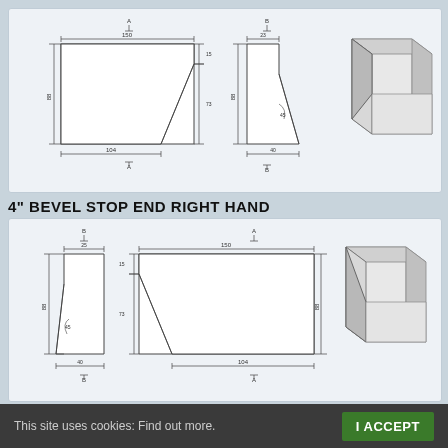[Figure (engineering-diagram): Technical drawing of 4 inch Bevel Stop End Left Hand showing front view (section A-A), side view (section B), and 3D perspective illustration with dimensions]
4" BEVEL STOP END RIGHT HAND
[Figure (engineering-diagram): Technical drawing of 4 inch Bevel Stop End Right Hand showing front view (section B), side view (section A-A), and 3D perspective illustration with dimensions]
This site uses cookies: Find out more.
I ACCEPT